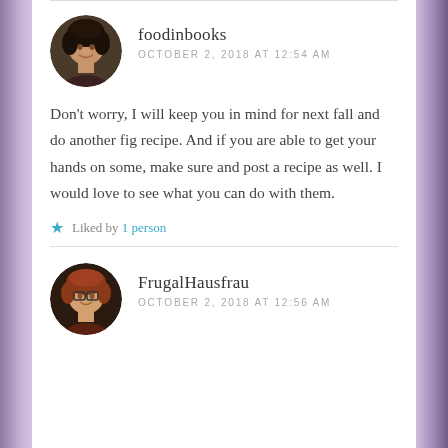[Figure (photo): Circular avatar photo of foodinbooks — woman with dark curly hair, smiling]
foodinbooks
OCTOBER 2, 2018 AT 12:54 AM
Don't worry, I will keep you in mind for next fall and do another fig recipe. And if you are able to get your hands on some, make sure and post a recipe as well. I would love to see what you can do with them.
Liked by 1 person
[Figure (photo): Circular avatar photo of FrugalHausfrau — woman with reddish hair and glasses, smiling]
FrugalHausfrau
OCTOBER 2, 2018 AT 12:56 AM